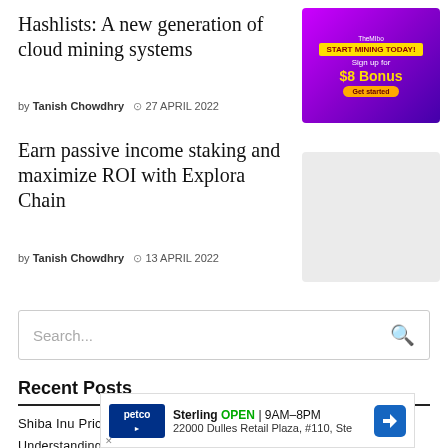Hashlists: A new generation of cloud mining systems
by Tanish Chowdhry  27 APRIL 2022
Earn passive income staking and maximize ROI with Explora Chain
by Tanish Chowdhry  13 APRIL 2022
[Figure (screenshot): Purple advertisement banner: START MINING TODAY! Sign up for $8 Bonus. Get started button.]
[Figure (screenshot): Light grey placeholder ad box.]
Search...
Recent Posts
Shiba Inu Price Prediction
Understanding the Tokenomics of ZNT: DeFi protocol Zenith's official token
Huobi I...  ext
[Figure (screenshot): Petco ad overlay: Sterling OPEN 9AM-8PM 22000 Dulles Retail Plaza, #110, Ste with navigation arrow icon.]